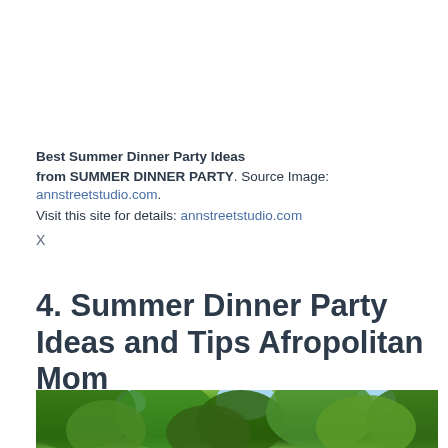Best Summer Dinner Party Ideas
from SUMMER DINNER PARTY. Source Image: annstreetstudio.com.
Visit this site for details: annstreetstudio.com
X
4. Summer Dinner Party Ideas and Tips Afropolitan Mom
[Figure (photo): Outdoor photo showing lush green tree foliage against a light blue sky, likely taken at a summer outdoor setting.]